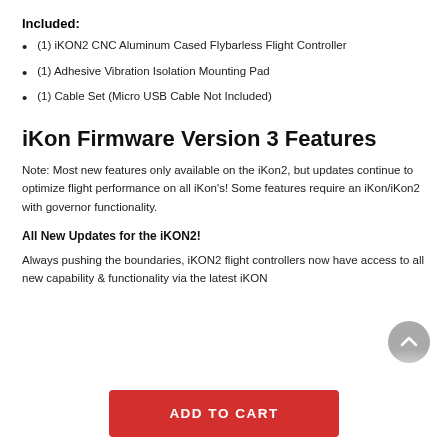Included:
(1) iKON2 CNC Aluminum Cased Flybarless Flight Controller
(1) Adhesive Vibration Isolation Mounting Pad
(1) Cable Set (Micro USB Cable Not Included)
iKon Firmware Version 3 Features
Note: Most new features only available on the iKon2, but updates continue to optimize flight performance on all iKon’s! Some features require an iKon/iKon2 with governor functionality.
All New Updates for the iKON2!
Always pushing the boundaries, iKON2 flight controllers now have access to all new capability & functionality via the latest iKON